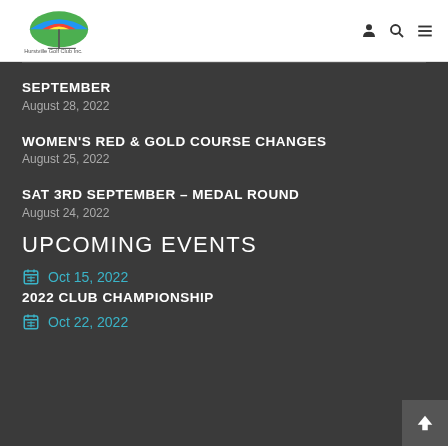Hurstville Golf Club Inc.
SEPTEMBER
August 28, 2022
WOMEN'S RED & GOLD COURSE CHANGES
August 25, 2022
SAT 3RD SEPTEMBER – MEDAL ROUND
August 24, 2022
UPCOMING EVENTS
Oct 15, 2022
2022 CLUB CHAMPIONSHIP
Oct 22, 2022